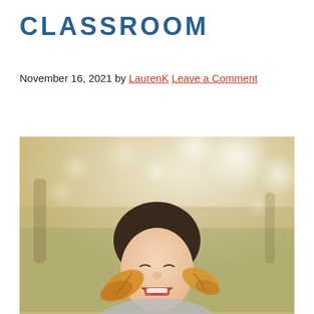CLASSROOM
November 16, 2021 by LaurenK Leave a Comment
[Figure (photo): A young girl with dark hair and bangs laughing joyfully outdoors, holding autumn leaves near her face, with a blurred bokeh background of trees and warm light.]